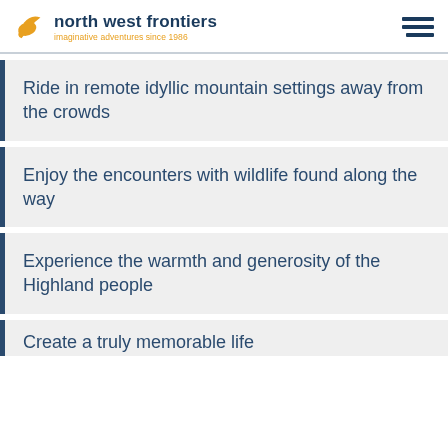north west frontiers — imaginative adventures since 1986
Ride in remote idyllic mountain settings away from the crowds
Enjoy the encounters with wildlife found along the way
Experience the warmth and generosity of the Highland people
Create a truly memorable life